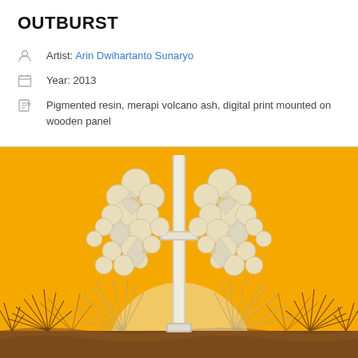OUTBURST
Artist: Arin Dwihartanto Sunaryo
Year: 2013
Pigmented resin, merapi volcano ash, digital print mounted on wooden panel
[Figure (photo): Artwork photo showing an orange/yellow background with white and gray sculptural elements depicting volcanic eruption forms — bubbles, plant-like sprays, a central vertical element, and dark ground at the bottom.]